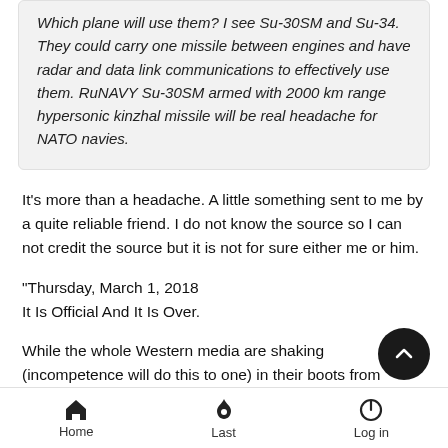Which plane will use them? I see Su-30SM and Su-34. They could carry one missile between engines and have radar and data link communications to effectively use them. RuNAVY Su-30SM armed with 2000 km range hypersonic kinzhal missile will be real headache for NATO navies.
It's more than a headache. A little something sent to me by a quite reliable friend. I do not know the source so I can not credit the source but it is not for sure either me or him.
"Thursday, March 1, 2018
It Is Official And It Is Over.
While the whole Western media are shaking (incompetence will do this to one) in their boots from Vladimir Putin's address, where he demonstrated, among many things, new RS-28 S— ballistic missile, behind that revolutionary weapon system, one
Home  Last  Log in